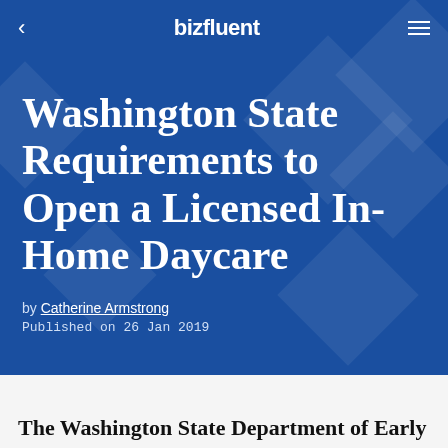bizfluent
Washington State Requirements to Open a Licensed In-Home Daycare
by Catherine Armstrong
Published on 26 Jan 2019
The Washington State Department of Early